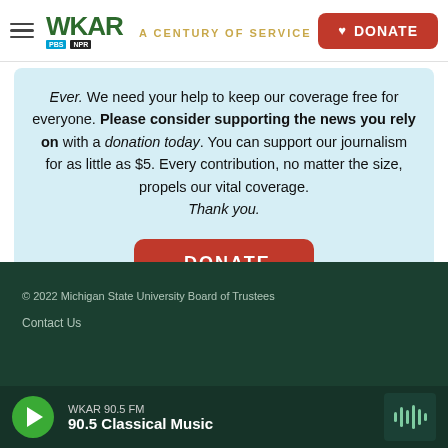WKAR A CENTURY OF SERVICE | DONATE
Ever. We need your help to keep our coverage free for everyone. Please consider supporting the news you rely on with a donation today. You can support our journalism for as little as $5. Every contribution, no matter the size, propels our vital coverage. Thank you.
DONATE
© 2022 Michigan State University Board of Trustees
Contact Us
WKAR 90.5 FM · 90.5 Classical Music